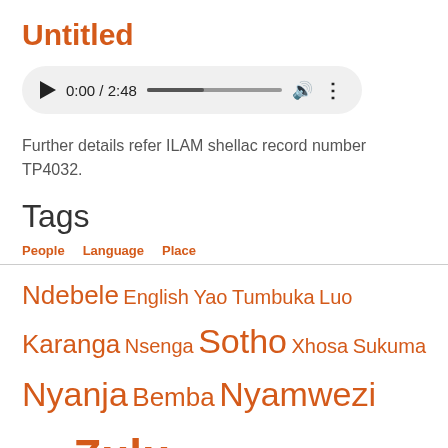Untitled
[Figure (other): Audio player showing 0:00 / 2:48 with play button, progress bar, volume icon, and more options icon]
Further details refer ILAM shellac record number TP4032.
Tags
People | Language | Place (tab navigation)
Ndebele English Yao Tumbuka Luo Karanga Nsenga Sotho Xhosa Sukuma Nyanja Bemba Nyamwezi Haya Zulu Ngala Chewa Nyoro Luba Nguja Shona Chopi Shangaan